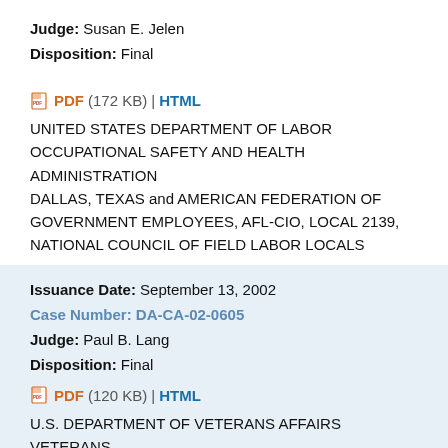Judge: Susan E. Jelen
Disposition: Final
PDF (172 KB) | HTML
UNITED STATES DEPARTMENT OF LABOR OCCUPATIONAL SAFETY AND HEALTH ADMINISTRATION DALLAS, TEXAS and AMERICAN FEDERATION OF GOVERNMENT EMPLOYEES, AFL-CIO, LOCAL 2139, NATIONAL COUNCIL OF FIELD LABOR LOCALS
Issuance Date: September 13, 2002
Case Number: DA-CA-02-0605
Judge: Paul B. Lang
Disposition: Final
PDF (120 KB) | HTML
U.S. DEPARTMENT OF VETERANS AFFAIRS VETERANS AFFAIRS MEDICAL CENTER CONSOLIDATED MAIL OUTPATIENT PHARMACY DALLAS, TEXAS and AMERICAN